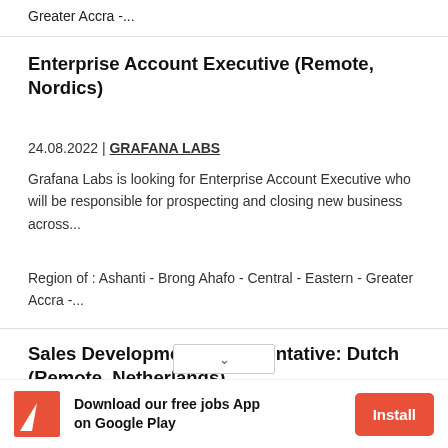Greater Accra -...
Enterprise Account Executive (Remote, Nordics)
24.08.2022 | GRAFANA LABS
Grafana Labs is looking for Enterprise Account Executive who will be responsible for prospecting and closing new business across...
Region of : Ashanti - Brong Ahafo - Central - Eastern - Greater Accra -...
Sales Development Representative: Dutch (Remote, Netherlands)
Download our free jobs App on Google Play